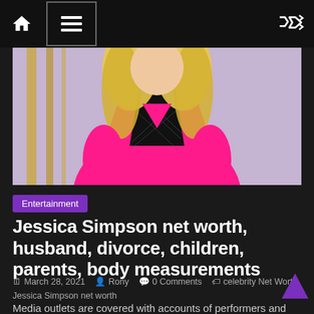Navigation bar with home, menu, and shuffle icons
[Figure (photo): Woman with blonde hair wearing a bright pink blazer over a black mesh top, photographed from mid-torso up against a light purple/gold striped background]
Entertainment
Jessica Simpson net worth, husband, divorce, children, parents, body measurements
March 28, 2021  Rony  0 Comments  celebrity Net Worth, Jessica Simpson net worth
Media outlets are covered with accounts of performers and entertainers who began, not in the city, but rather locally of